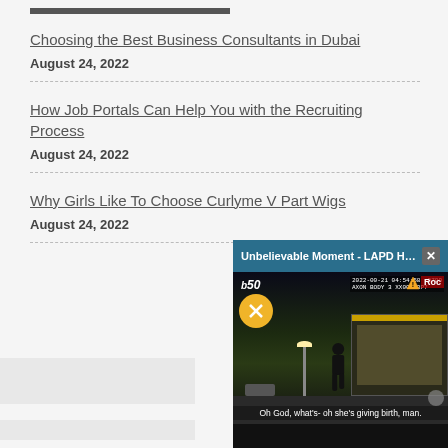Choosing the Best Business Consultants in Dubai
August 24, 2022
How Job Portals Can Help You with the Recruiting Process
August 24, 2022
Why Girls Like To Choose Curlyme V Part Wigs
August 24, 2022
[Figure (screenshot): Video popup overlay titled 'Unbelievable Moment - LAPD Helps ...' with a close button. The video shows a nighttime scene of a person walking toward a fast food restaurant, with a muted audio icon (b50 logo), a timestamp, and a caption reading 'Oh God, what's- oh she's giving birth, man.']